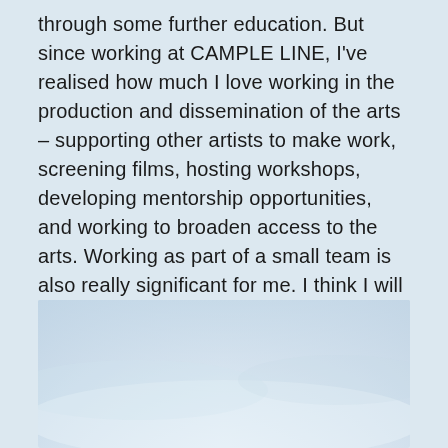through some further education. But since working at CAMPLE LINE, I've realised how much I love working in the production and dissemination of the arts – supporting other artists to make work, screening films, hosting workshops, developing mentorship opportunities, and working to broaden access to the arts. Working as part of a small team is also really significant for me. I think I will always maintain my own creative projects in one way or another, but perhaps I now see more of a career future in programming and or/working as part of an arts organisation … We shall see!
[Figure (photo): A light blue and white sky or haze photograph, fading from pale blue-grey at top to lighter near bottom, appearing like a soft sky or misty landscape.]